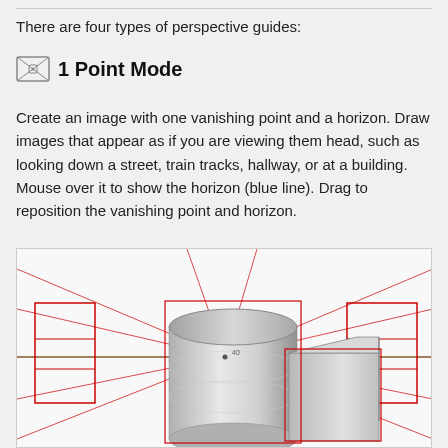There are four types of perspective guides:
1 Point Mode
Create an image with one vanishing point and a horizon. Draw images that appear as if you are viewing them head, such as looking down a street, train tracks, hallway, or at a building. Mouse over it to show the horizon (blue line). Drag to reposition the vanishing point and horizon.
[Figure (illustration): 1-point perspective guide illustration showing a cylinder and a box drawn in 1-point perspective with red perspective lines converging to a central vanishing point and a green horizon line.]